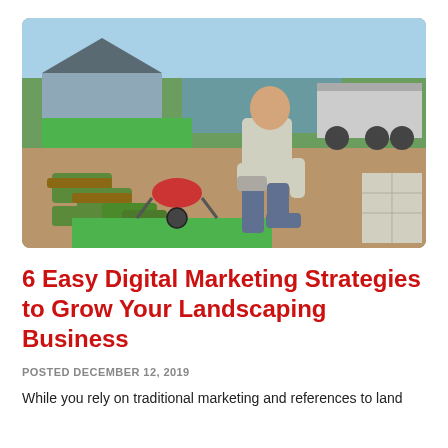[Figure (photo): A bald man wearing a grey t-shirt and gloves kneeling on bare dirt laying sod/turf rolls, with a red wheelbarrow, a house, and a truck/trailer visible in the background on a sunny day.]
6 Easy Digital Marketing Strategies to Grow Your Landscaping Business
POSTED DECEMBER 12, 2019
While you rely on traditional marketing and references to land